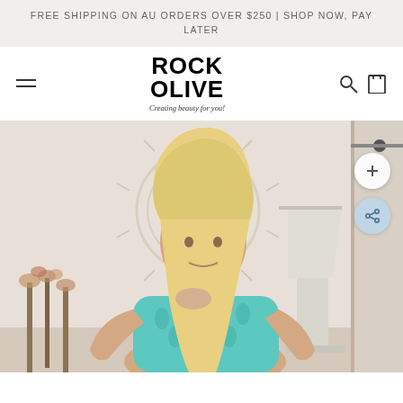FREE SHIPPING ON AU ORDERS OVER $250 | SHOP NOW, PAY LATER
ROCK OLIVE
Creating beauty for you!
[Figure (photo): A blonde woman wearing a turquoise/teal strapless top, standing in a bright room with a white sunburst mirror, dried flowers, and a white lamp. Two floating action buttons visible: a plus button and a share button.]